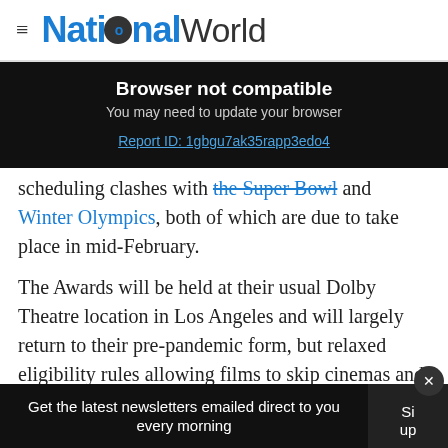National World
Browser not compatible
You may need to update your browser
Report ID: 1gbgu7ak35rapp3edo4
scheduling clashes with the Super Bowl and Winter Olympics, both of which are due to take place in mid-February.
The Awards will be held at their usual Dolby Theatre location in Los Angeles and will largely return to their pre-pandemic form, but relaxed eligibility rules allowing films to skip cinemas and debut on streaming service
Get the latest newsletters emailed direct to you every morning   Sign up